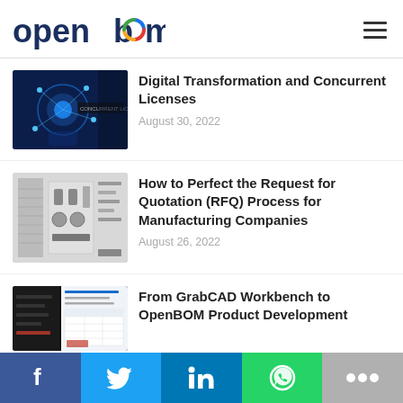openbom
Digital Transformation and Concurrent Licenses
August 30, 2022
How to Perfect the Request for Quotation (RFQ) Process for Manufacturing Companies
August 26, 2022
From GrabCAD Workbench to OpenBOM Product Development